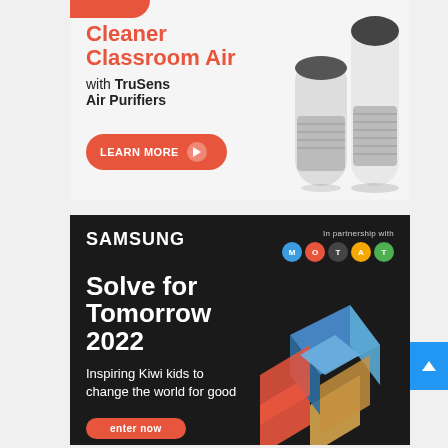[Figure (illustration): TruSens Air Purifiers advertisement banner. Orange/coral heading 'Cleaner Classroom Air' with subtitle 'with TruSens Air Purifiers', a 'LEARN MORE' button with play icon, and product images of white air purifiers on the right.]
[Figure (illustration): Samsung 'Solve for Tomorrow 2022' advertisement on black background. Samsung logo top left, 'In partnership with MOTAT' top right with colorful circle logos. Large white text 'Solve for Tomorrow 2022', subtitle 'Inspiring Kiwi kids to change the world for good', colorful 3D block shapes on right, 'enter now' button at bottom.]